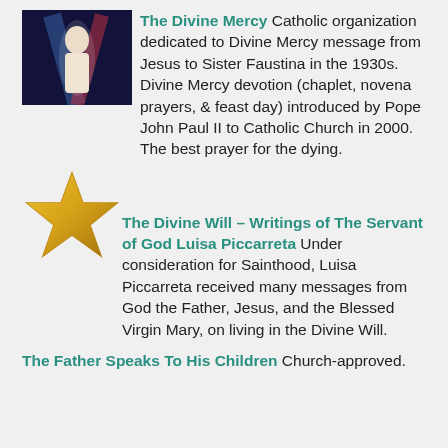[Figure (photo): Divine Mercy image of Jesus with rays of light]
The Divine Mercy Catholic organization dedicated to Divine Mercy message from Jesus to Sister Faustina in the 1930s. Divine Mercy devotion (chaplet, novena prayers, & feast day) introduced by Pope John Paul II to Catholic Church in 2000. The best prayer for the dying.
[Figure (illustration): Gold star icon]
The Divine Will – Writings of The Servant of God Luisa Piccarreta Under consideration for Sainthood, Luisa Piccarreta received many messages from God the Father, Jesus, and the Blessed Virgin Mary, on living in the Divine Will.
The Father Speaks To His Children Church-approved.